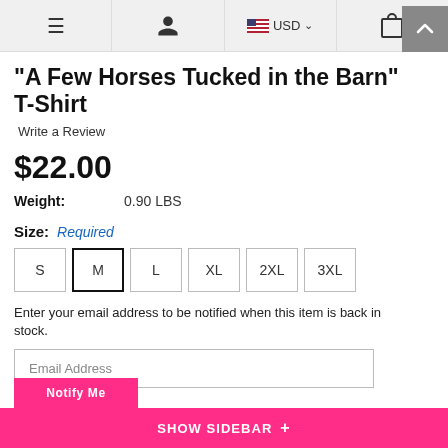≡  [user icon]  🇺🇸 USD ∨  [cart icon]
"A Few Horses Tucked in the Barn" T-Shirt
Write a Review
$22.00
Weight: 0.90 LBS
Size: Required
S M L XL 2XL 3XL
Enter your email address to be notified when this item is back in stock.
Email Address
Notify Me
SHOW SIDEBAR +